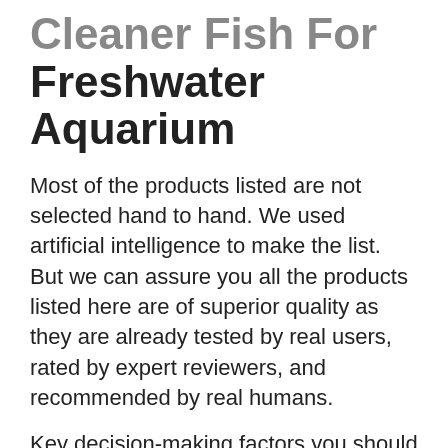Cleaner Fish For Freshwater Aquarium
Most of the products listed are not selected hand to hand. We used artificial intelligence to make the list. But we can assure you all the products listed here are of superior quality as they are already tested by real users, rated by expert reviewers, and recommended by real humans.
Key decision-making factors you should consider to select the products:
Cost
An important factor to consider when purchasing cleaner fish for freshwater